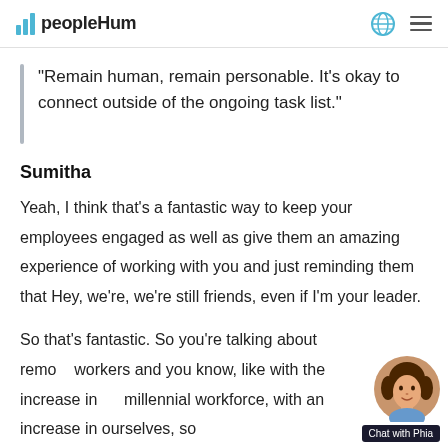peopleHum
"Remain human, remain personable. It's okay to connect outside of the ongoing task list."
Sumitha
Yeah, I think that's a fantastic way to keep your employees engaged as well as give them an amazing experience of working with you and just reminding them that Hey, we're, we're still friends, even if I'm your leader.
So that's fantastic. So you're talking about remote workers and you know, like with the increase in millennial workforce, with an increase in ourselves, so